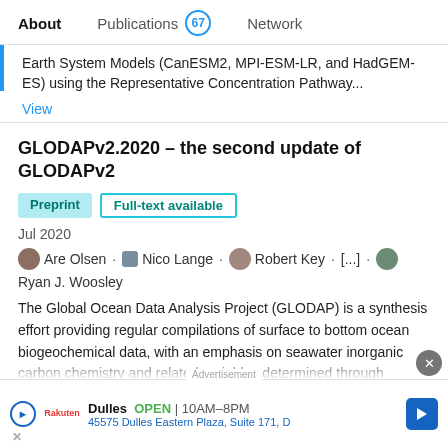About  Publications 67  Network
Earth System Models (CanESM2, MPI-ESM-LR, and HadGEM-ES) using the Representative Concentration Pathway...
View
GLODAPv2.2020 – the second update of GLODAPv2
Preprint  Full-text available
Jul 2020
Are Olsen · Nico Lange · Robert Key · [...] · Ryan J. Woosley
The Global Ocean Data Analysis Project (GLODAP) is a synthesis effort providing regular compilations of surface to bottom ocean biogeochemical data, with an emphasis on seawater inorganic carbon chemistry and related variables determined through chemical analysis of water samples. GLODAPv2.2020 is an update of the previous version,
Dulles  OPEN  10AM–8PM  45575 Dulles Eastern Plaza, Suite 171, D